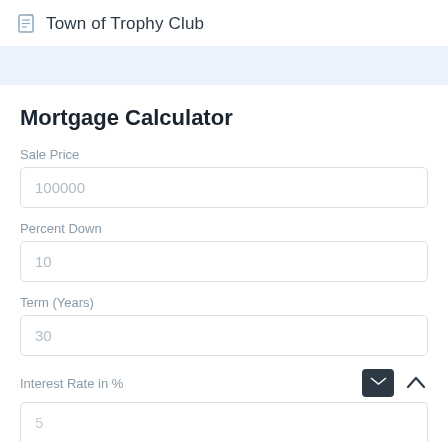Town of Trophy Club
Mortgage Calculator
Sale Price
100000
Percent Down
10
Term (Years)
30
Interest Rate in %
5